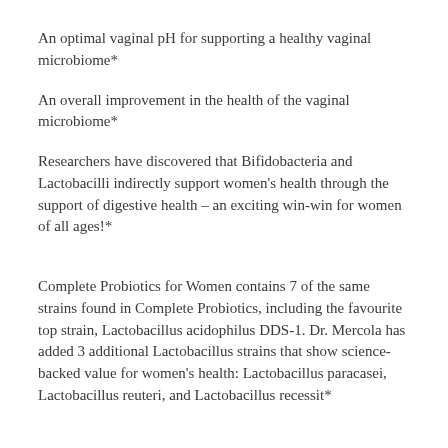An optimal vaginal pH for supporting a healthy vaginal microbiome*
An overall improvement in the health of the vaginal microbiome*
Researchers have discovered that Bifidobacteria and Lactobacilli indirectly support women's health through the support of digestive health – an exciting win-win for women of all ages!*
Complete Probiotics for Women contains 7 of the same strains found in Complete Probiotics, including the favourite top strain, Lactobacillus acidophilus DDS-1. Dr. Mercola has added 3 additional Lactobacillus strains that show science-backed value for women's health: Lactobacillus paracasei, Lactobacillus reuteri, and Lactobacillus recessit*